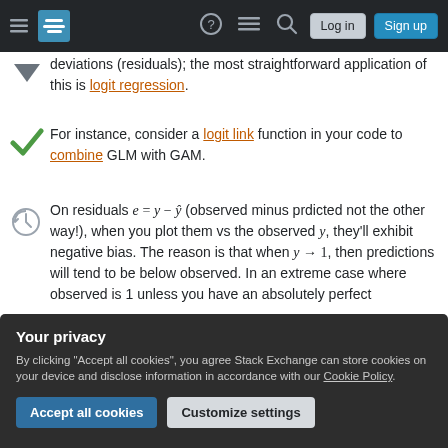Stack Exchange navigation bar with Log in and Sign up buttons
deviations (residuals); the most straightforward application of this is logit regression.
For instance, consider a logit link function in your code to combine GLM with GAM.
On residuals e = y − ŷ (observed minus prdicted not the other way!), when you plot them vs the observed y, they'll exhibit negative bias. The reason is that when y → 1, then predictions will tend to be below observed. In an extreme case where observed is 1 unless you have an absolutely perfect
Your privacy
By clicking "Accept all cookies", you agree Stack Exchange can store cookies on your device and disclose information in accordance with our Cookie Policy.
Accept all cookies   Customize settings
the errors baked in the dependent variables, hence